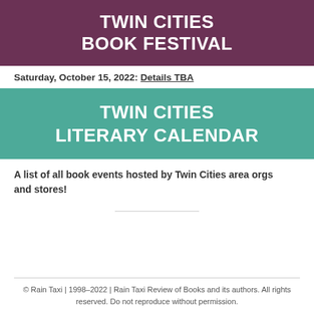TWIN CITIES BOOK FESTIVAL
Saturday, October 15, 2022: Details TBA
TWIN CITIES LITERARY CALENDAR
A list of all book events hosted by Twin Cities area orgs and stores!
© Rain Taxi | 1998–2022 | Rain Taxi Review of Books and its authors. All rights reserved. Do not reproduce without permission.